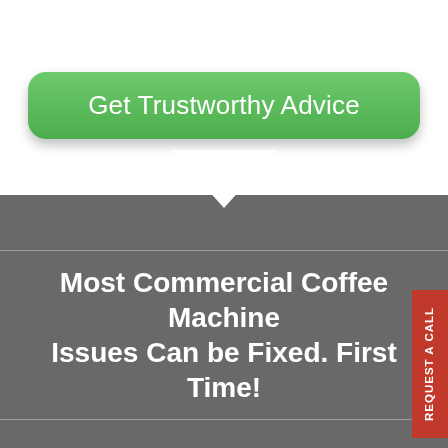[Figure (other): Green rounded button with text 'Get Trustworthy Advice' on white background with downward arrow transitioning to dark grey section]
Most Commercial Coffee Machine Issues Can be Fixed. First Time!
With commercial coffee machines most common faults are easy to fix. Our Northamptonshire servicing coffee machine engineers carry in excess of £2000 worth of parts and can fix most problems on site, on the first visit. Belo